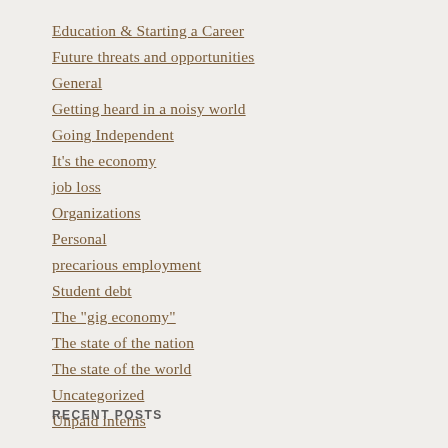Education & Starting a Career
Future threats and opportunities
General
Getting heard in a noisy world
Going Independent
It's the economy
job loss
Organizations
Personal
precarious employment
Student debt
The "gig economy"
The state of the nation
The state of the world
Uncategorized
Unpaid interns
RECENT POSTS